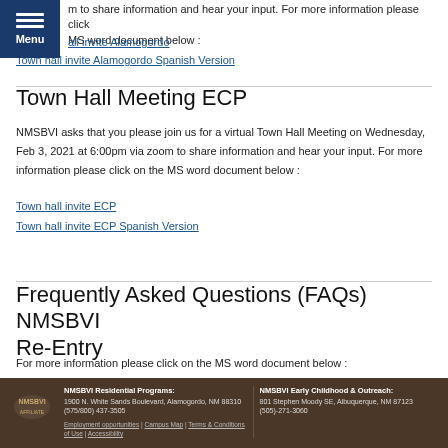Menu
m to share information and hear your input. For more information please click MS word document below :
all invite Alamogordo
Town hall invite Alamogordo Spanish Version
Town Hall Meeting ECP
NMSBVI asks that you please join us for a virtual Town Hall Meeting on Wednesday, Feb 3, 2021 at 6:00pm via zoom to share information and hear your input. For more information please click on the MS word document below :
Town hall invite ECP
Town hall invite ECP Spanish Version
Frequently Asked Questions (FAQs) NMSBVI Re-Entry
For more information please click on the MS word document below :
NMSBVI Residential Programs: 1900 N. White Sands Boulevard, Alamogordo, NM 88310 | (575/800) 437-3505 | NMSBVI Early Childhood & Outreach: 801 Stephen Moody SE, Albuquerque, NM 87123 | (505)-271-3060 | Employment opportunities | Campus Map | Terms & Conditions of Use | Accessibility